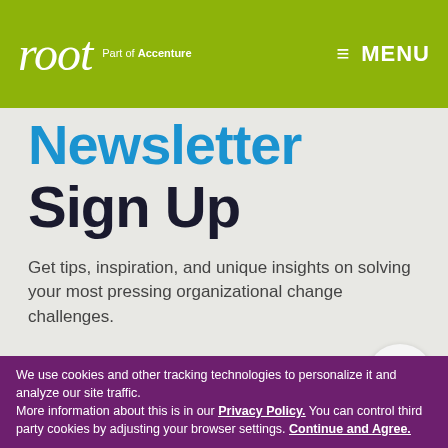root Part of Accenture | MENU
Newsletter Sign Up
Get tips, inspiration, and unique insights on solving your most pressing organizational change challenges.
First Name*
We use cookies and other tracking technologies to personalize it and analyze our site traffic.
More information about this is in our Privacy Policy. You can control third party cookies by adjusting your browser settings. Continue and Agree.